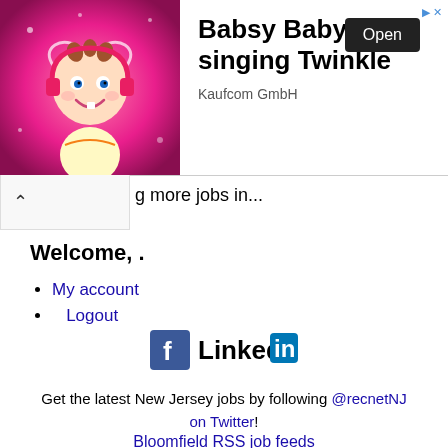[Figure (screenshot): Advertisement banner for Babsy Baby singing Twinkle app by Kaufcom GmbH with cartoon baby image and Open button]
g more jobs in...
Welcome, .
My account
Logout
[Figure (logo): Facebook and LinkedIn social media icons]
Get the latest New Jersey jobs by following @recnetNJ on Twitter!
Bloomfield RSS job feeds